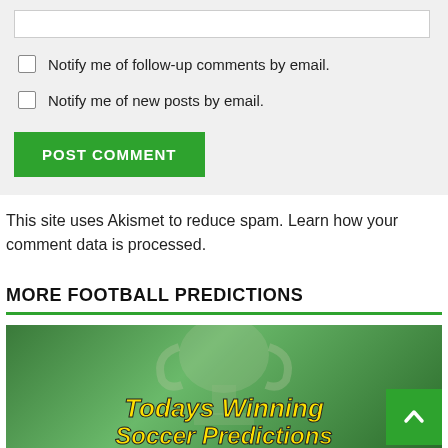Notify me of follow-up comments by email.
Notify me of new posts by email.
POST COMMENT
This site uses Akismet to reduce spam. Learn how your comment data is processed.
MORE FOOTBALL PREDICTIONS
[Figure (photo): Soccer/football trophy image with green overlay and text 'Todays Winning Soccer Predictions' in yellow bold italic font]